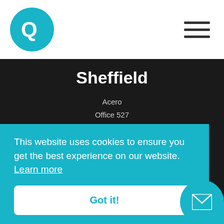[Figure (logo): Q Accountants circular teal logo with Q letter mark]
Sheffield
Acero
Office 527
1 Concourse Way
Sheffield S1 2BJ
0114 212 9080
sheffield@qaccountants.com
This website uses cookies to ensure you get the best experience on our website. Learn more
Got it!
0161319 3333